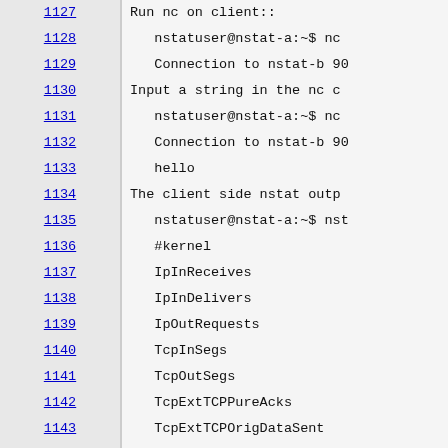Line numbers 1127-1154 with code content including: Run nc on client::, nstatuser@nstat-a:~$ nc, Connection to nstat-b 90, Input a string in the nc c, nstatuser@nstat-a:~$ nc, Connection to nstat-b 90, hello, The client side nstat outp, nstatuser@nstat-a:~$ nst, #kernel, IpInReceives, IpInDelivers, IpOutRequests, TcpInSegs, TcpOutSegs, TcpExtTCPPureAcks, TcpExtTCPOrigDataSent, IpExtInOctets, IpExtOutOctets, IpExtInNoECTPkts, The server side nstat outp